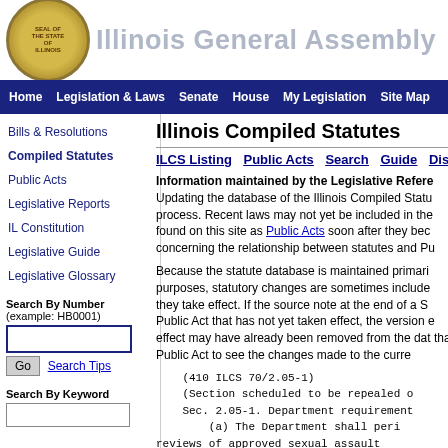Illinois General Assembly
Home | Legislation & Laws | Senate | House | My Legislation | Site Map
Bills & Resolutions
Compiled Statutes
Public Acts
Legislative Reports
IL Constitution
Legislative Guide
Legislative Glossary
Search By Number (example: HB0001)
Search By Keyword
Illinois Compiled Statutes
ILCS Listing  Public Acts  Search  Guide  Dis
Information maintained by the Legislative Refere Updating the database of the Illinois Compiled Statu process. Recent laws may not yet be included in the found on this site as Public Acts soon after they bec concerning the relationship between statutes and Pu
Because the statute database is maintained primari purposes, statutory changes are sometimes include they take effect. If the source note at the end of a S Public Act that has not yet taken effect, the version effect may have already been removed from the da that Public Act to see the changes made to the curre
(410 ILCS 70/2.05-1)
    (Section scheduled to be repealed o
    Sec. 2.05-1. Department requirement
    (a) The Department shall peri
reviews of approved sexual assault
hospital, approved pediatric health ca